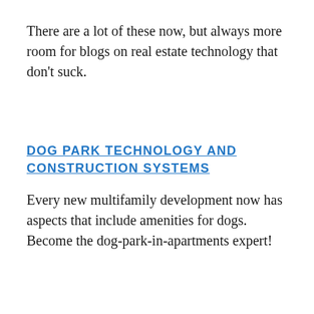There are a lot of these now, but always more room for blogs on real estate technology that don't suck.
DOG PARK TECHNOLOGY AND CONSTRUCTION SYSTEMS
Every new multifamily development now has aspects that include amenities for dogs. Become the dog-park-in-apartments expert!
ENTITLEMENTS SAAS
SaaS for city websites that manages multiple